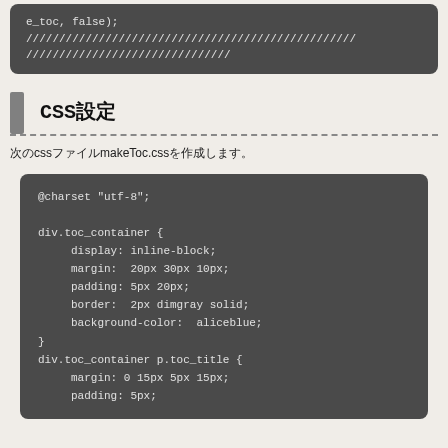[Figure (screenshot): Code block showing: e_toc, false); followed by lines of forward slashes]
CSS設定
次のcssファイルmakeToc.cssを作成します。
[Figure (screenshot): CSS code block showing @charset utf-8, div.toc_container styles including display, margin, padding, border, background-color, and div.toc_container p.toc_title with margin and padding]